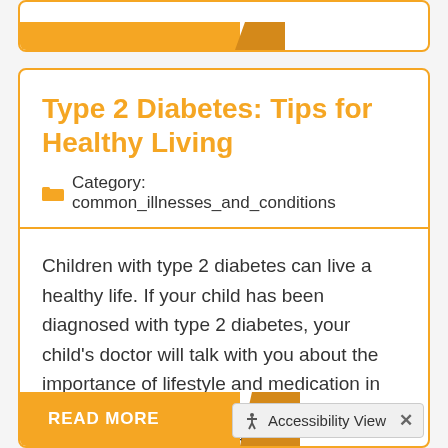Type 2 Diabetes: Tips for Healthy Living
Category: common_illnesses_and_conditions
Children with type 2 diabetes can live a healthy life. If your child has been diagnosed with type 2 diabetes, your child's doctor will talk with you about the importance of lifestyle and medication in keeping your child's blood glucose (blood sugar) levels under control.